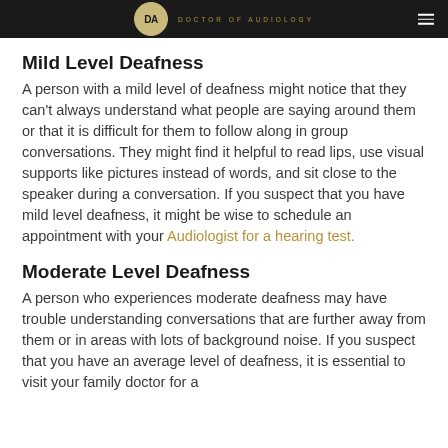DOCTOR OF AUDIOLOGY
Mild Level Deafness
A person with a mild level of deafness might notice that they can't always understand what people are saying around them or that it is difficult for them to follow along in group conversations. They might find it helpful to read lips, use visual supports like pictures instead of words, and sit close to the speaker during a conversation. If you suspect that you have mild level deafness, it might be wise to schedule an appointment with your Audiologist for a hearing test.
Moderate Level Deafness
A person who experiences moderate deafness may have trouble understanding conversations that are further away from them or in areas with lots of background noise. If you suspect that you have an average level of deafness, it is essential to visit your family doctor for a